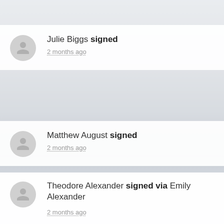Julie Biggs signed
2 months ago
Matthew August signed
2 months ago
Theodore Alexander signed via Emily Alexander
2 months ago
Benjamin Gilvar-Parke signed
2 months ago